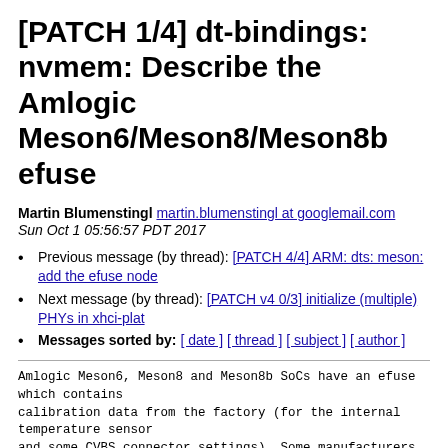[PATCH 1/4] dt-bindings: nvmem: Describe the Amlogic Meson6/Meson8/Meson8b efuse
Martin Blumenstingl martin.blumenstingl at googlemail.com
Sun Oct 1 05:56:57 PDT 2017
Previous message (by thread): [PATCH 4/4] ARM: dts: meson: add the efuse node
Next message (by thread): [PATCH v4 0/3] initialize (multiple) PHYs in xhci-plat
Messages sorted by: [ date ] [ thread ] [ subject ] [ author ]
Amlogic Meson6, Meson8 and Meson8b SoCs have an efuse
which contains
calibration data from the factory (for the internal
temperature sensor
and some CVBS connector settings). Some manufacturers
also store the MAC
address or serial number in the efuse.